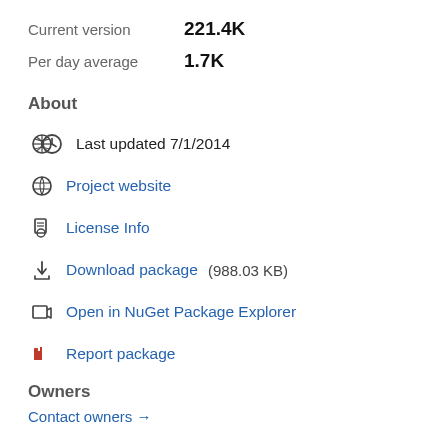Current version   221.4K
Per day average   1.7K
About
Last updated 7/1/2014
Project website
License Info
Download package  (988.03 KB)
Open in NuGet Package Explorer
Report package
Owners
Contact owners →